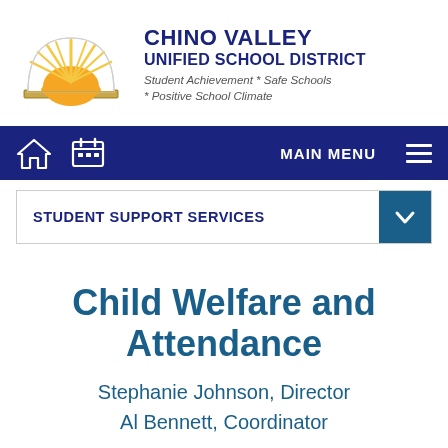[Figure (logo): Chino Valley Unified School District logo — semicircle with radiating sun rays above an open book, gold and white tones]
CHINO VALLEY UNIFIED SCHOOL DISTRICT
Student Achievement * Safe Schools * Positive School Climate
[Figure (infographic): Dark navy navigation bar with home icon, calendar icon, MAIN MENU text and hamburger menu icon]
STUDENT SUPPORT SERVICES
Child Welfare and Attendance
Stephanie Johnson, Director
Al Bennett, Coordinator